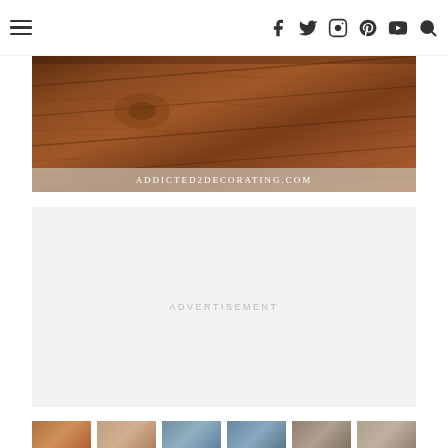Navigation header with hamburger menu and social icons: Facebook, Twitter, Instagram, Pinterest, YouTube, Search
[Figure (photo): Close-up photo of dark brown wood flooring planks at a diagonal angle, with watermark 'Addicted2Decorating.com' overlay at bottom]
ADVERTISEMENT
[Figure (photo): Row of thumbnail images partially visible at bottom: brown wood tones, blue-toned interiors, and gray-toned room images]